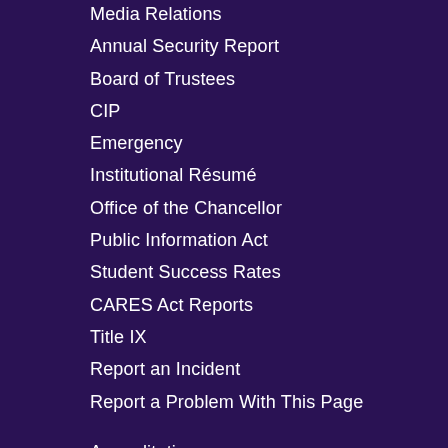Media Relations
Annual Security Report
Board of Trustees
CIP
Emergency
Institutional Résumé
Office of the Chancellor
Public Information Act
Student Success Rates
CARES Act Reports
Title IX
Report an Incident
Report a Problem With This Page
Accreditation
Mission, Vision & Values
ACC Bookstore